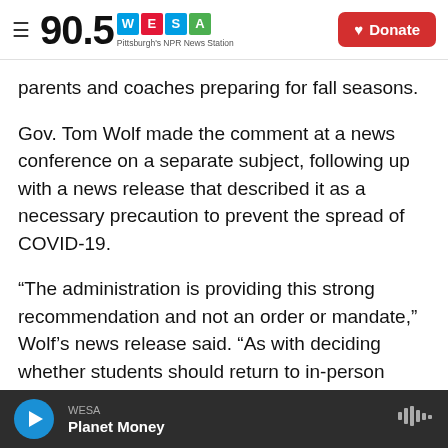90.5 WESA Pittsburgh's NPR News Station | Donate
parents and coaches preparing for fall seasons.
Gov. Tom Wolf made the comment at a news conference on a separate subject, following up with a news release that described it as a necessary precaution to prevent the spread of COVID-19.
“The administration is providing this strong recommendation and not an order or mandate,” Wolf’s news release said. “As with deciding whether students should return to in-person classes, remote learning or a blend of the two this fall, school administrators and locally elected school boards
WESA | Planet Money